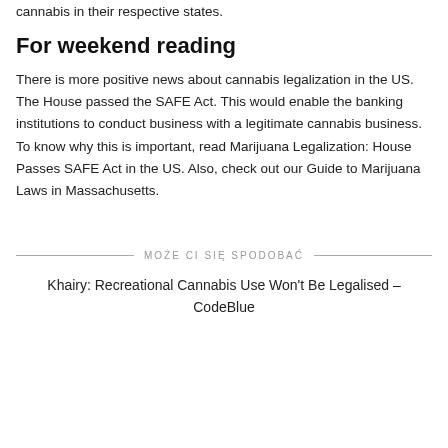cannabis in their respective states.
For weekend reading
There is more positive news about cannabis legalization in the US. The House passed the SAFE Act. This would enable the banking institutions to conduct business with a legitimate cannabis business. To know why this is important, read Marijuana Legalization: House Passes SAFE Act in the US. Also, check out our Guide to Marijuana Laws in Massachusetts.
MOŻE CI SIĘ SPODOBAĆ
Khairy: Recreational Cannabis Use Won't Be Legalised – CodeBlue